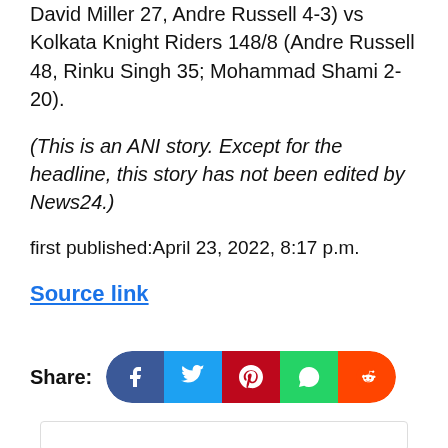David Miller 27, Andre Russell 4-3) vs Kolkata Knight Riders 148/8 (Andre Russell 48, Rinku Singh 35; Mohammad Shami 2-20).
(This is an ANI story. Except for the headline, this story has not been edited by News24.)
first published:April 23, 2022, 8:17 p.m.
Source link
[Figure (infographic): Share buttons row: Facebook (dark blue), Twitter (light blue), Pinterest (red), WhatsApp (green), Reddit (orange), with Share: label]